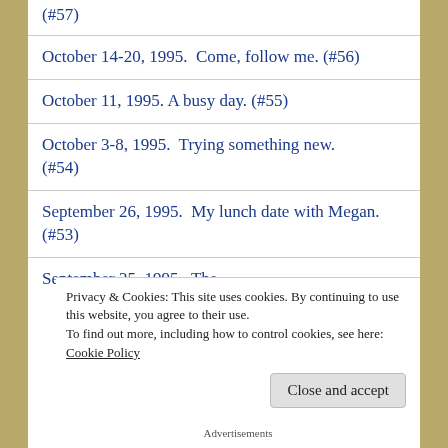(#57)
October 14-20, 1995.  Come, follow me. (#56)
October 11, 1995. A busy day. (#55)
October 3-8, 1995.  Trying something new. (#54)
September 26, 1995.  My lunch date with Megan. (#53)
September 25, 1995.  The…
Privacy & Cookies: This site uses cookies. By continuing to use this website, you agree to their use.
To find out more, including how to control cookies, see here: Cookie Policy
Advertisements